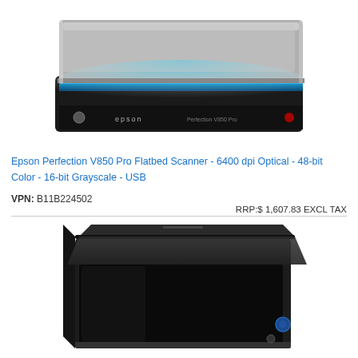[Figure (photo): Epson Perfection V850 Pro flatbed scanner shown from above at an angle, with glowing blue light strip visible under the lifted lid. Device has silver/gray top and black base.]
Epson Perfection V850 Pro Flatbed Scanner - 6400 dpi Optical - 48-bit Color - 16-bit Grayscale - USB
VPN: B11B224502
RRP:$ 1,607.83 EXCL TAX
[Figure (photo): Second scanner product shown from above at an angle — a black flatbed scanner with its lid partially open, revealing a dark interior.]